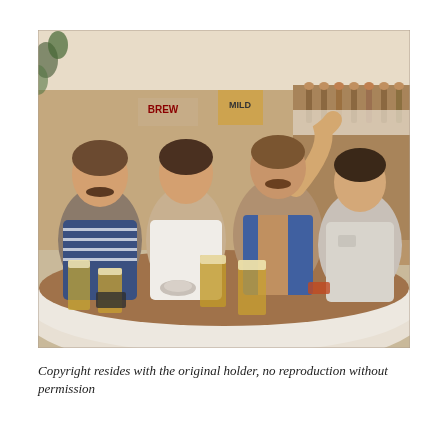[Figure (photo): Vintage photograph of four men sitting around a round table in what appears to be a pub or bar setting. Beer glasses are on the table. The men are casually dressed, one has his arm raised pointing upward. Beer taps and shelving are visible in the background.]
Copyright resides with the original holder, no reproduction without permission